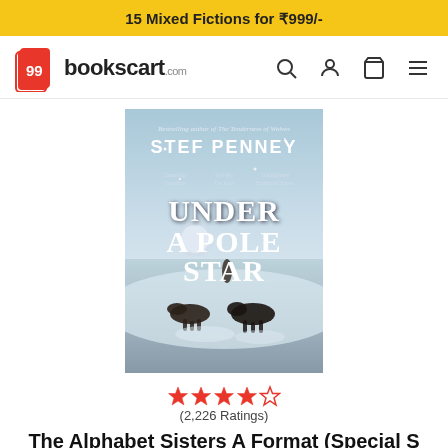15 Mixed Fictions for ₹999/-
[Figure (logo): 99bookscart.com logo with red book icon]
[Figure (photo): Book cover of 'Under A Pole Star' by Stef Penney showing sled dogs in snowy arctic landscape]
★★★★☆ (2,226 Ratings)
The Alphabet Sisters A Format (Special S
by Stef penney